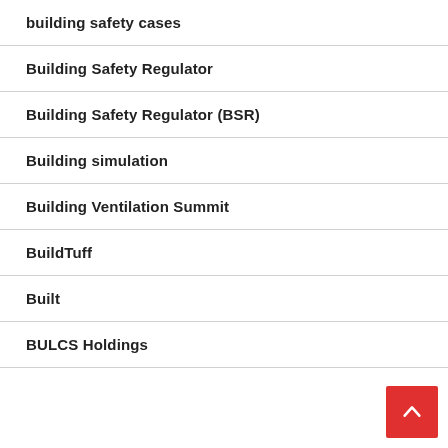building safety cases
Building Safety Regulator
Building Safety Regulator (BSR)
Building simulation
Building Ventilation Summit
BuildTuff
Built
BULCS Holdings